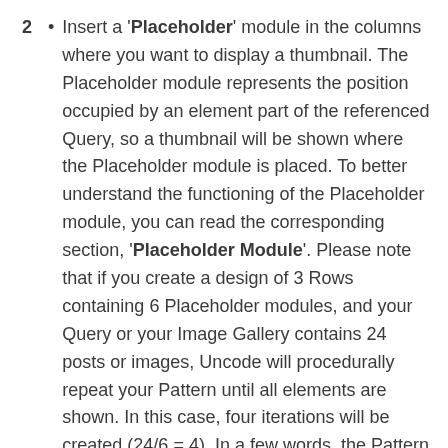Insert a 'Placeholder' module in the columns where you want to display a thumbnail. The Placeholder module represents the position occupied by an element part of the referenced Query, so a thumbnail will be shown where the Placeholder module is placed. To better understand the functioning of the Placeholder module, you can read the corresponding section, 'Placeholder Module'. Please note that if you create a design of 3 Rows containing 6 Placeholder modules, and your Query or your Image Gallery contains 24 posts or images, Uncode will procedurally repeat your Pattern until all elements are shown. In this case, four iterations will be created (24/6 = 4). In a few words, the Pattern you have made will be used as a matrix to